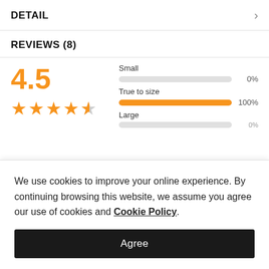DETAIL
REVIEWS (8)
[Figure (infographic): Product rating showing 4.5 out of 5 stars in orange, with size fit bars: Small 0%, True to size 100%, Large (partially visible)]
We use cookies to improve your online experience. By continuing browsing this website, we assume you agree our use of cookies and Cookie Policy.
Agree